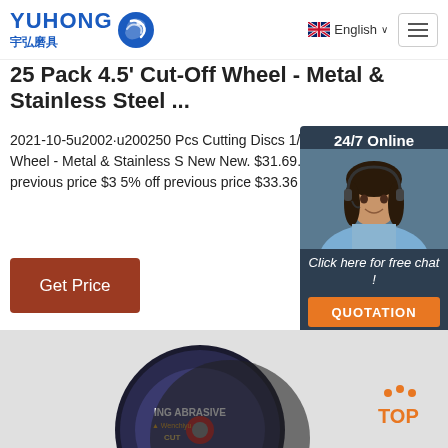YUHONG 宇弘磨具 — English (navigation header)
25 Pack 4.5' Cut-Off Wheel - Metal & Stainless Steel ...
2021-10-5u2002·u200250 Pcs Cutting Discs 1/25'x7/8' Cut-off Wheel - Metal & Stainless S New New. $31.69. $33.36. previous price $33.36 5% off previous price $33.36 5% off.
[Figure (screenshot): Get Price button — brown/rust colored button with white text]
[Figure (photo): Chat widget: 24/7 Online banner, customer service representative photo, 'Click here for free chat!' text, QUOTATION orange button]
[Figure (photo): Product photo showing cut-off wheel / grinding disc on light gray background with TOP button overlay]